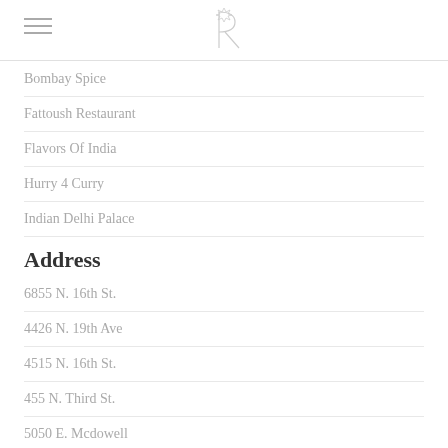R logo / hamburger menu
Bombay Spice
Fattoush Restaurant
Flavors Of India
Hurry 4 Curry
Indian Delhi Palace
Address
6855 N. 16th St.
4426 N. 19th Ave
4515 N. 16th St.
455 N. Third St.
5050 E. Mcdowell